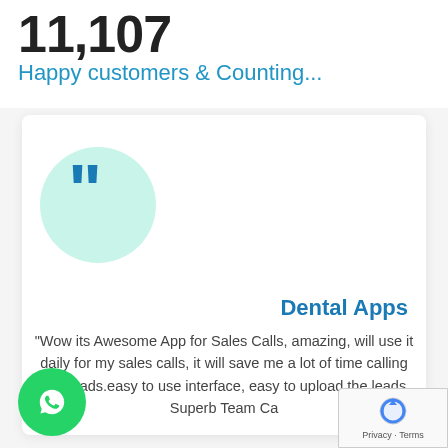11,107
Happy customers & Counting...
[Figure (illustration): Customer testimonial card with quote icon (teal circle with blue quotation marks), reviewer name 'Dental Apps', and review text]
Dental Apps
“Wow its Awesome App for Sales Calls, amazing, will use it daily for my sales calls, it will save me a lot of time calling new leads.easy to use interface, easy to upload the leads. Superb Team Ca